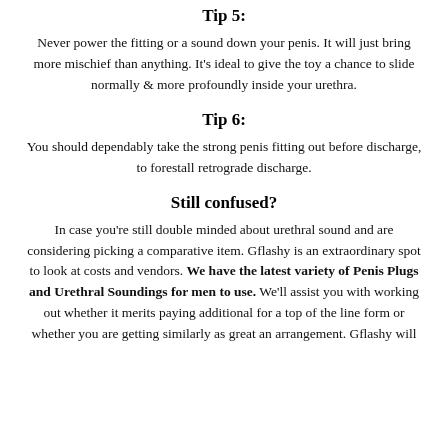Tip 5:
Never power the fitting or a sound down your penis. It will just bring more mischief than anything. It's ideal to give the toy a chance to slide normally & more profoundly inside your urethra.
Tip 6:
You should dependably take the strong penis fitting out before discharge, to forestall retrograde discharge.
Still confused?
In case you're still double minded about urethral sound and are considering picking a comparative item. Gflashy is an extraordinary spot to look at costs and vendors. We have the latest variety of Penis Plugs and Urethral Soundings for men to use. We'll assist you with working out whether it merits paying additional for a top of the line form or whether you are getting similarly as great an arrangement. Gflashy will